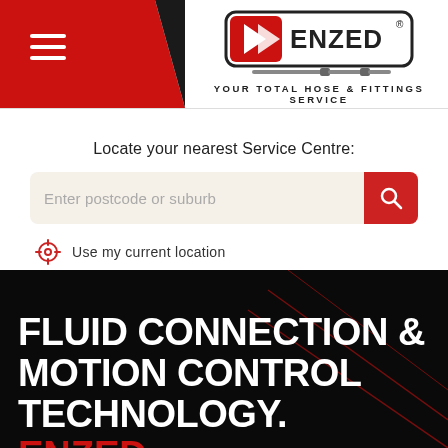[Figure (logo): ENZED logo with text YOUR TOTAL HOSE & FITTINGS SERVICE]
Locate your nearest Service Centre:
Enter postcode or suburb
Use my current location
FLUID CONNECTION & MOTION CONTROL TECHNOLOGY. ENZED.